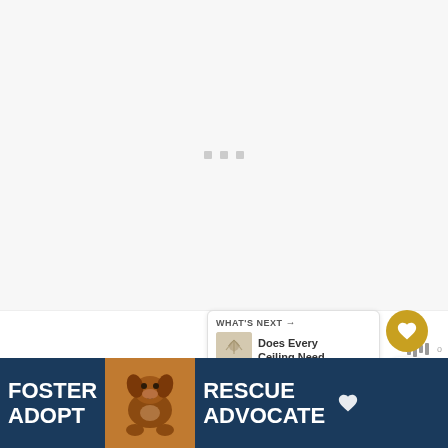[Figure (other): Large loading placeholder area with three small grey squares as loading indicators in the center]
[Figure (other): Golden circular heart/like button with white heart icon]
1
[Figure (other): White circular share button with share icon]
[Figure (other): What's Next card showing 'Does Every Ceiling Need...' with a thumbnail image of a ceiling light fixture]
On the other hand, steel doors are the most durable when we are talking about home it
[Figure (other): Advertisement banner: FOSTER ADOPT | dog photo | RESCUE ADVOCATE with close button and dog illustration]